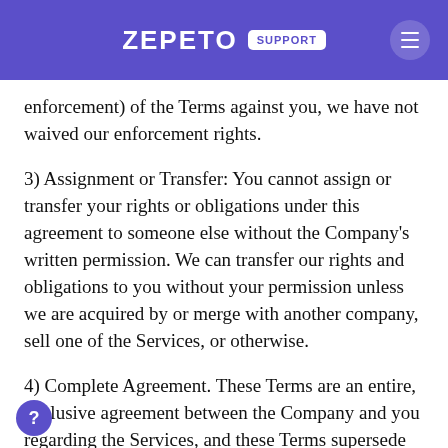ZEPETO SUPPORT
enforcement) of the Terms against you, we have not waived our enforcement rights.
3) Assignment or Transfer: You cannot assign or transfer your rights or obligations under this agreement to someone else without the Company's written permission. We can transfer our rights and obligations to you without your permission unless we are acquired by or merge with another company, sell one of the Services, or otherwise.
4) Complete Agreement. These Terms are an entire, exclusive agreement between the Company and you regarding the Services, and these Terms supersede and replace any prior agreements between the Company and you regarding the Services. We may revise these Terms from time to time. If the revision in our sole discretion is material, we will notify you